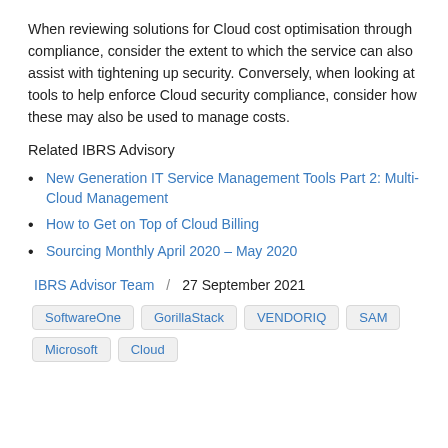When reviewing solutions for Cloud cost optimisation through compliance, consider the extent to which the service can also assist with tightening up security. Conversely, when looking at tools to help enforce Cloud security compliance, consider how these may also be used to manage costs.
Related IBRS Advisory
New Generation IT Service Management Tools Part 2: Multi-Cloud Management
How to Get on Top of Cloud Billing
Sourcing Monthly April 2020 – May 2020
IBRS Advisor Team / 27 September 2021
SoftwareOne  GorillaStack  VENDORIQ  SAM  Microsoft  Cloud